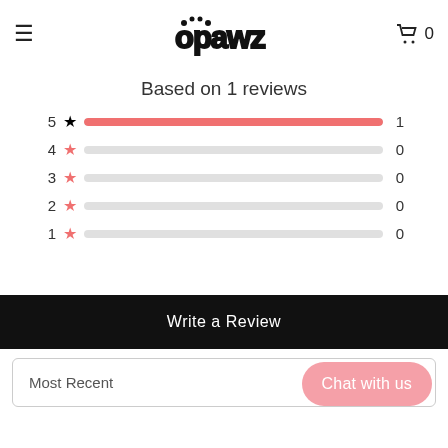To opawz.ca
[Figure (logo): Opawz logo with paw print dots]
Based on 1 reviews
[Figure (bar-chart): Rating distribution]
Write a Review
Most Recent
Chat with us